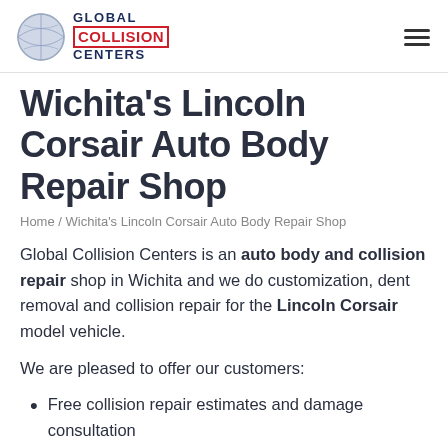[Figure (logo): Global Collision Centers logo with globe graphic and text]
Wichita's Lincoln Corsair Auto Body Repair Shop
Home / Wichita's Lincoln Corsair Auto Body Repair Shop
Global Collision Centers is an auto body and collision repair shop in Wichita and we do customization, dent removal and collision repair for the Lincoln Corsair model vehicle.
We are pleased to offer our customers:
Free collision repair estimates and damage consultation